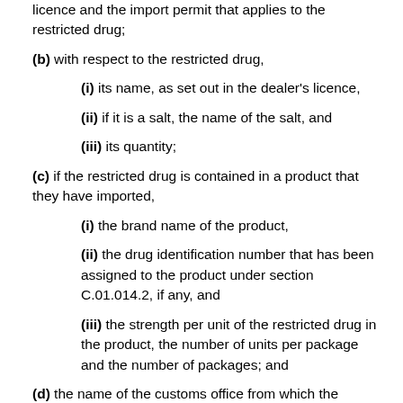licence and the import permit that applies to the restricted drug;
(b) with respect to the restricted drug,
(i) its name, as set out in the dealer’s licence,
(ii) if it is a salt, the name of the salt, and
(iii) its quantity;
(c) if the restricted drug is contained in a product that they have imported,
(i) the brand name of the product,
(ii) the drug identification number that has been assigned to the product under section C.01.014.2, if any, and
(iii) the strength per unit of the restricted drug in the product, the number of units per package and the number of packages; and
(d) the name of the customs office from which the